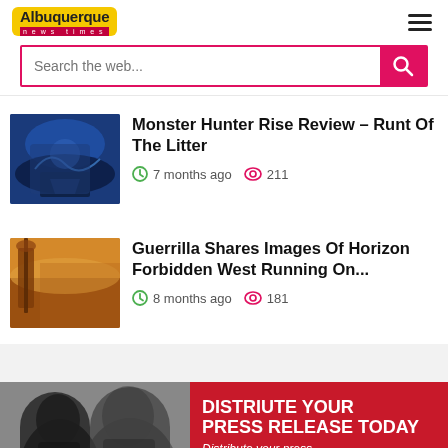[Figure (logo): Albuquerque News Times logo - yellow badge with black text and red banner]
Search the web...
Monster Hunter Rise Review – Runt Of The Litter
7 months ago  211
Guerrilla Shares Images Of Horizon Forbidden West Running On...
8 months ago  181
DISTRIBIUTE YOUR PRESS RELEASE TODAY Distribute your press